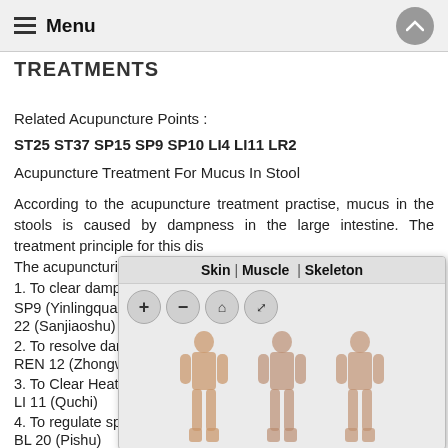Menu
TREATMENTS
Related Acupuncture Points :
ST25 ST37 SP15 SP9 SP10 LI4 LI11 LR2
Acupuncture Treatment For Mucus In Stool
According to the acupuncture treatment practise, mucus in the stools is caused by dampness in the large intestine. The treatment principle for this disorder is to resolve the dampness. The acupuncturist will targeting
1. To clear damp from lower bu... SP9 (Yinlingquan), SP 6 (San... 22 (Sanjiaoshu)
2. To resolve dampness : REN 12 (Zhongwan)
3. To Clear Heat and Dampne... LI 11 (Quchi)
4. To regulate spleen and reso... BL 20 (Pishu)
[Figure (illustration): Anatomy viewer popup showing Skin | Muscle | Skeleton tabs with zoom controls and three body figure illustrations (front, back views)]